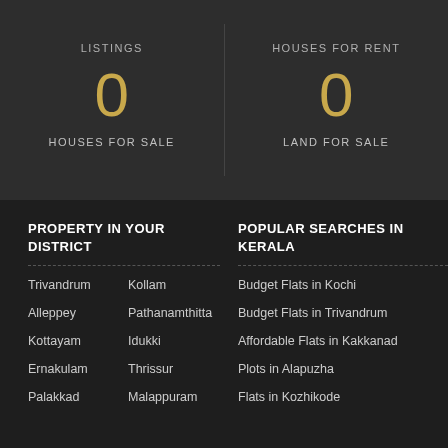LISTINGS
0
HOUSES FOR SALE
HOUSES FOR RENT
0
LAND FOR SALE
PROPERTY IN YOUR DISTRICT
POPULAR SEARCHES IN KERALA
Trivandrum
Kollam
Alleppey
Pathanamthitta
Kottayam
Idukki
Ernakulam
Thrissur
Palakkad
Malappuram
Budget Flats in Kochi
Budget Flats in Trivandrum
Affordable Flats in Kakkanad
Plots in Alapuzha
Flats in Kozhikode